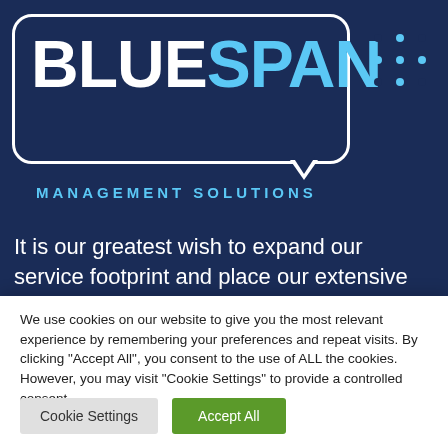[Figure (logo): BlueSpan Management Solutions logo — white text on dark navy background with speech bubble border and 'MANAGEMENT SOLUTIONS' subtitle in blue]
It is our greatest wish to expand our service footprint and place our extensive knowledgebase, comprehensive skillsets and specialised service offering at the disposal of aspiring entrepreneurs, new business ventures and well-
We use cookies on our website to give you the most relevant experience by remembering your preferences and repeat visits. By clicking "Accept All", you consent to the use of ALL the cookies. However, you may visit "Cookie Settings" to provide a controlled consent.